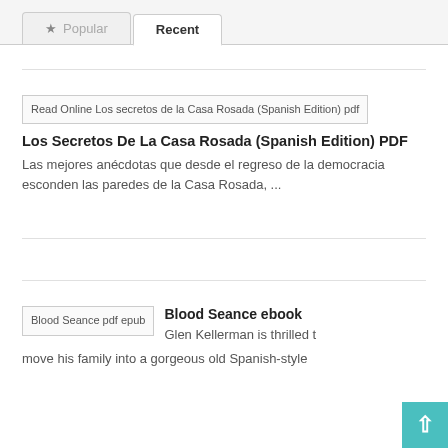Popular   Recent
[Figure (screenshot): Broken image placeholder for 'Read Online Los secretos de la Casa Rosada (Spanish Edition) pdf']
Los Secretos De La Casa Rosada (Spanish Edition) PDF
Las mejores anécdotas que desde el regreso de la democracia esconden las paredes de la Casa Rosada, ...
[Figure (screenshot): Broken image placeholder for 'Blood Seance pdf epub']
Blood Seance ebook
Glen Kellerman is thrilled to move his family into a gorgeous old Spanish-style